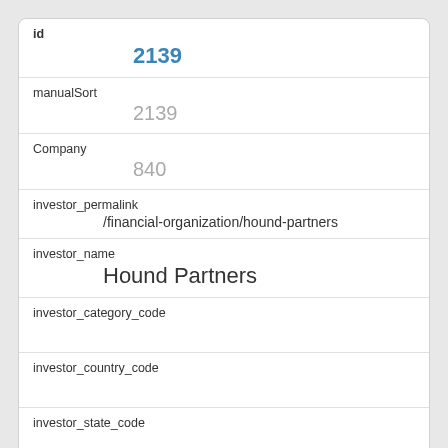| Field | Value |
| --- | --- |
| id | 2139 |
| manualSort | 2139 |
| Company | 840 |
| investor_permalink | /financial-organization/hound-partners |
| investor_name | Hound Partners |
| investor_category_code |  |
| investor_country_code |  |
| investor_state_code |  |
| investor_region | unknown |
| investor_city |  |